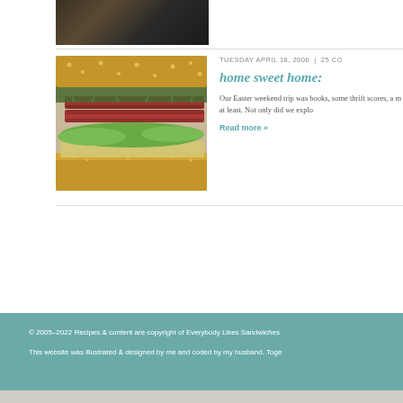[Figure (photo): Partial view of a food photo at the top of the page, mostly cropped, showing a dark bowl or plate with food]
[Figure (photo): A large sandwich on seeded bread with bacon, lettuce, cheese and sprouts, photographed close-up]
TUESDAY APRIL 18, 2006  |  25 CO
home sweet home:
Our Easter weekend trip was books, some thrift scores, a m at least. Not only did we explo
Read more »
© 2005–2022 Recipes & content are copyright of Everybody Likes Sandwiches
This website was illustrated & designed by me and coded by my husband. Toge